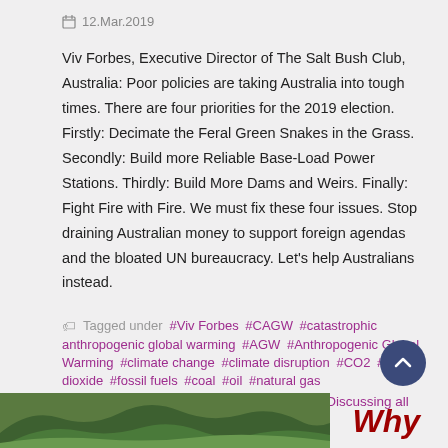12.Mar.2019
Viv Forbes, Executive Director of The Salt Bush Club, Australia: Poor policies are taking Australia into tough times. There are four priorities for the 2019 election. Firstly: Decimate the Feral Green Snakes in the Grass. Secondly: Build more Reliable Base-Load Power Stations. Thirdly: Build More Dams and Weirs. Finally: Fight Fire with Fire. We must fix these four issues. Stop draining Australian money to support foreign agendas and the bloated UN bureaucracy. Let’s help Australians instead.
Tagged under #Viv Forbes #CAGW #catastrophic anthropogenic global warming #AGW #Anthropogenic Global Warming #climate change #climate disruption #CO2 #carbon dioxide #fossil fuels #coal #oil #natural gas
Published in Man-Made Global Warming - Discussing all positions
[Figure (photo): Aerial landscape photo of green hills and mountains]